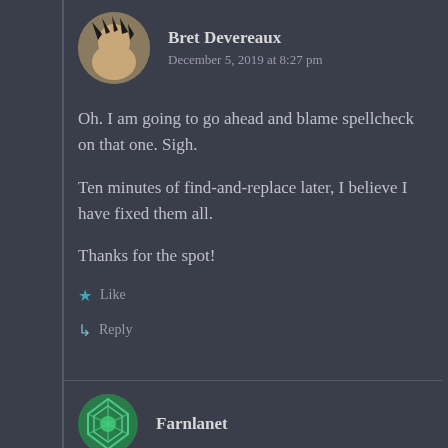Bret Devereaux
December 5, 2019 at 8:27 pm
Oh. I am going to go ahead and blame spellcheck on that one. Sigh.
Ten minutes of find-and-replace later, I believe I have fixed them all.
Thanks for the spot!
Like
Reply
Farnlanet